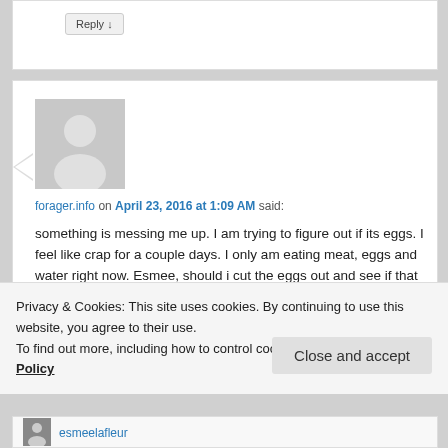Reply ↓
forager.info on April 23, 2016 at 1:09 AM said:
something is messing me up. I am trying to figure out if its eggs. I feel like crap for a couple days. I only am eating meat, eggs and water right now. Esmee, should i cut the eggs out and see if that helps?
Privacy & Cookies: This site uses cookies. By continuing to use this website, you agree to their use.
To find out more, including how to control cookies, see here: Cookie Policy
Close and accept
esmeelafleur